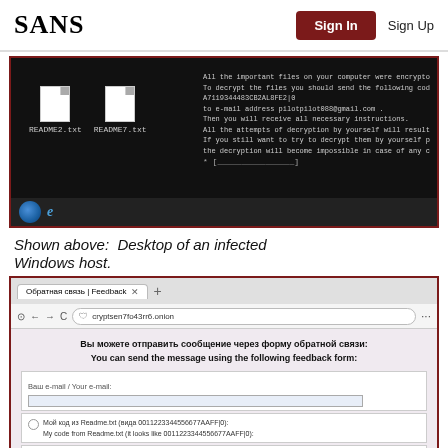SANS | Sign In | Sign Up
[Figure (screenshot): Desktop screenshot of an infected Windows host showing README2.txt and README7.txt files on black background with ransom message text visible on right side, and Windows taskbar at bottom]
Shown above:  Desktop of an infected Windows host.
[Figure (screenshot): Browser screenshot showing feedback form on cryptsen7fo43rr6.onion with Russian and English text asking to send message, with form fields for email, code from Readme.txt, and lost Readme.txt files option]